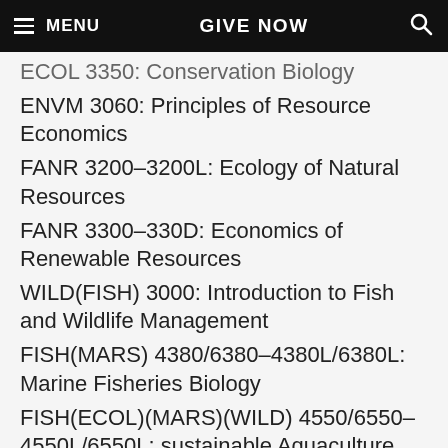MENU  GIVE NOW  [search]
ECOL 3350: Conservation Biology
ENVM 3060: Principles of Resource Economics
FANR 3200-3200L: Ecology of Natural Resources
FANR 3300-330D: Economics of Renewable Resources
WILD(FISH) 3000: Introduction to Fish and Wildlife Management
FISH(MARS) 4380/6380-4380L/6380L: Marine Fisheries Biology
FISH(ECOL)(MARS)(WILD) 4550/6550-4550L/6550L: sustainable Aquaculture